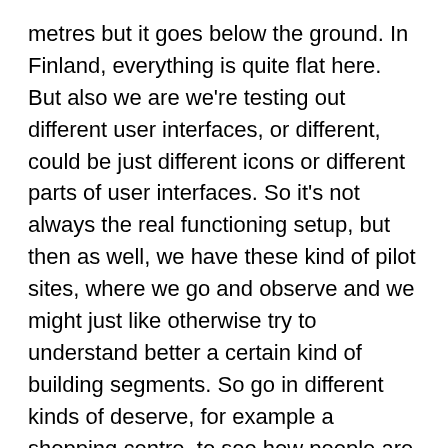metres but it goes below the ground. In Finland, everything is quite flat here. But also we are we're testing out different user interfaces, or different, could be just different icons or different parts of user interfaces. So it's not always the real functioning setup, but then as well, we have these kind of pilot sites, where we go and observe and we might just like otherwise try to understand better a certain kind of building segments. So go in different kinds of deserve, for example a shopping centre, to see how people are moving there and what kind of things are affecting them.
Jussi Hiltunen
And then lots of prototyping. And you can set up those kinds of environments also in odd places but it really helps to do get further with the development. And then of course, talking about research, then those kinds of